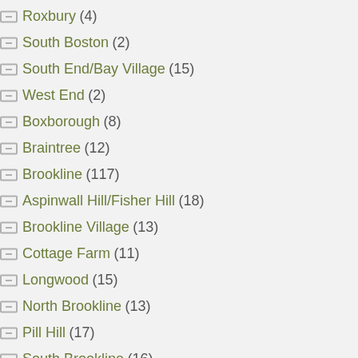Roxbury (4)
South Boston (2)
South End/Bay Village (15)
West End (2)
Boxborough (8)
Braintree (12)
Brookline (117)
Aspinwall Hill/Fisher Hill (18)
Brookline Village (13)
Cottage Farm (11)
Longwood (15)
North Brookline (13)
Pill Hill (17)
South Brookline (16)